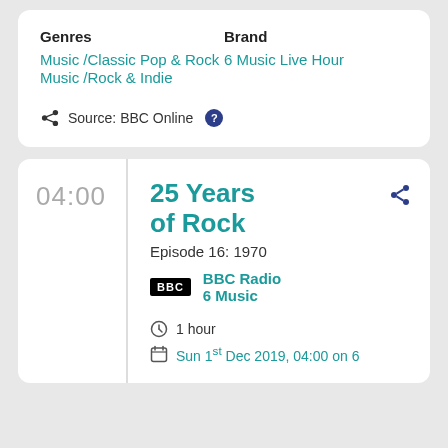Genres: Music / Classic Pop & Rock Music / Rock & Indie | Brand: 6 Music Live Hour
Source: BBC Online
04:00
25 Years of Rock
Episode 16: 1970
BBC Radio 6 Music
1 hour
Sun 1st Dec 2019, 04:00 on 6